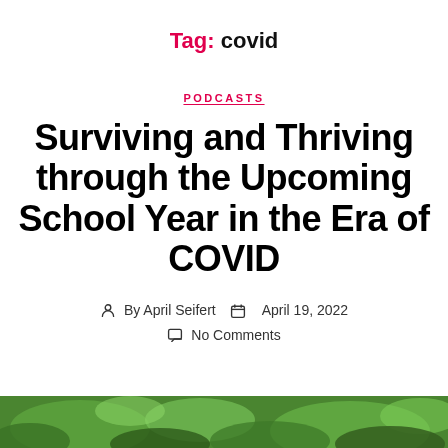Tag: covid
PODCASTS
Surviving and Thriving through the Upcoming School Year in the Era of COVID
By April Seifert   April 19, 2022   No Comments
[Figure (photo): Green foliage/leaves close-up photo strip at the bottom of the page]